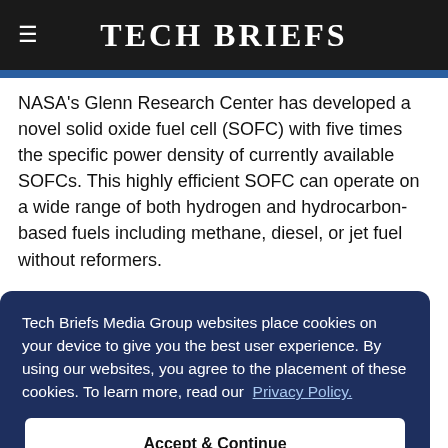Tech Briefs
NASA's Glenn Research Center has developed a novel solid oxide fuel cell (SOFC) with five times the specific power density of currently available SOFCs. This highly efficient SOFC can operate on a wide range of both hydrogen and hydrocarbon-based fuels including methane, diesel, or jet fuel without reformers.
[Figure (illustration): Illustration of a solid oxide fuel cell stack with layered blue and grey components, with 'Air' label at bottom left and 'Fuel' label at bottom right.]
Tech Briefs Media Group websites place cookies on your device to give you the best user experience. By using our websites, you agree to the placement of these cookies. To learn more, read our Privacy Policy.